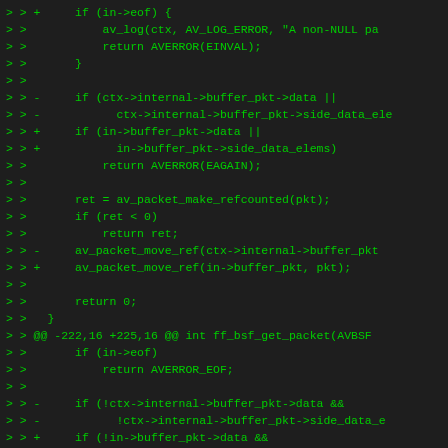[Figure (screenshot): Code diff showing green monospace text on dark background. Lines show git diff output with >> prefixes, +/- markers for added/removed lines, featuring C code related to buffer packet handling in FFmpeg BSF (Bitstream Filter) functions.]